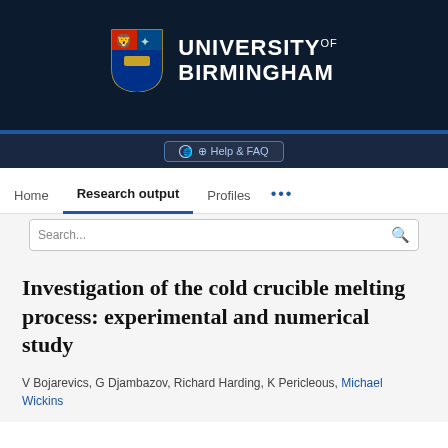[Figure (logo): University of Birmingham logo with crest and white text on dark navy background]
Help & FAQ
Home   Research output   Profiles   ...
Search...
Investigation of the cold crucible melting process: experimental and numerical study
V Bojarevics, G Djambazov, Richard Harding, K Pericleous, Michael Wickins